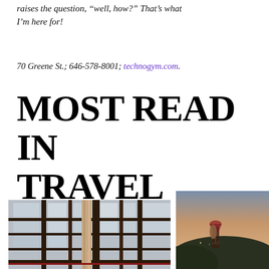raises the question, “well, how?” That’s what I’m here for!
70 Greene St.; 646-578-8001; technogym.com.
MOST READ IN TRAVEL
[Figure (photo): View through ornate geometric window with city/landscape beyond]
[Figure (photo): Person holding wine glass with hilltop landscape at dusk in background]